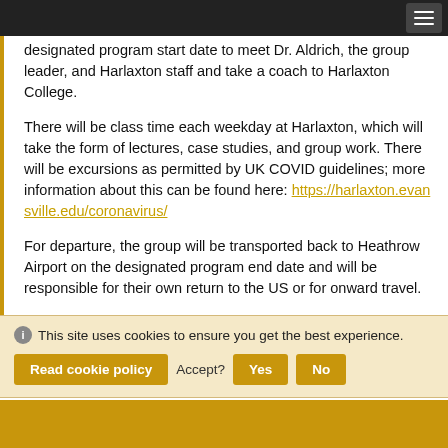designated program start date to meet Dr. Aldrich, the group leader, and Harlaxton staff and take a coach to Harlaxton College.
There will be class time each weekday at Harlaxton, which will take the form of lectures, case studies, and group work. There will be excursions as permitted by UK COVID guidelines; more information about this can be found here: https://harlaxton.evansville.edu/coronavirus/
For departure, the group will be transported back to Heathrow Airport on the designated program end date and will be responsible for their own return to the US or for onward travel.
This site uses cookies to ensure you get the best experience.